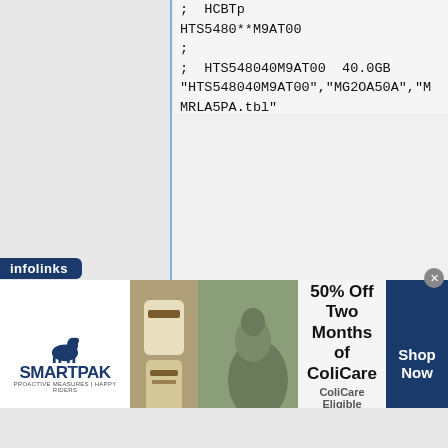; HCBTp
HTS5480**M9AT00
;
; HTS548040M9AT00 40.0GB
"HTS548040M9AT00","MG2OA50A","M MRLA5PA.tbl"
"HTS548040M9AT00","MG2OA55A","M MRLA5PA.tbl"
"HTS548040M9AT00","MG2OA5BA","M MRLA5PA.tbl"
"HTS548040M9AT00","MG2OA5DA","M MRLA5PA.tbl"
"HTS548040M9AT00","MG2OA5HA","M MRLA5PA.tbl"
;
; HTS548060M9AT00 60.0GB
"HTS548060M9AT00","MGBOA50A","M MRLA5PA.tbl"
"HTS548060M9AT00","MGBOA55A","M
[Figure (infographic): SmartPak advertisement banner: '50% Off Two Months of ColiCare, ColiCare Eligible Supplements, CODE: COLICARE10, Shop Now']